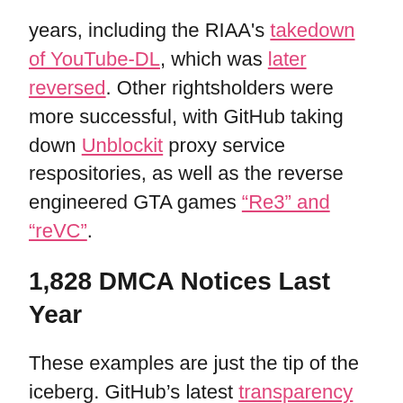years, including the RIAA's takedown of YouTube-DL, which was later reversed. Other rightsholders were more successful, with GitHub taking down Unblockit proxy service respositories, as well as the reverse engineered GTA games "Re3" and "reVC".
1,828 DMCA Notices Last Year
These examples are just the tip of the iceberg. GitHub's latest transparency report reveals that the platform received a total of 1,828 valid DMCA takedown notices last year. Just a small number of these, 46, were retracted or reversed.